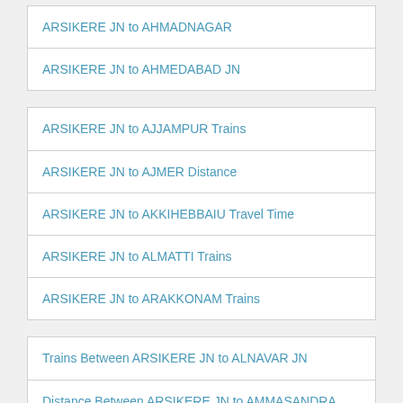ARSIKERE JN to AHMADNAGAR
ARSIKERE JN to AHMEDABAD JN
ARSIKERE JN to AJJAMPUR Trains
ARSIKERE JN to AJMER Distance
ARSIKERE JN to AKKIHEBBAIU Travel Time
ARSIKERE JN to ALMATTI Trains
ARSIKERE JN to ARAKKONAM Trains
Trains Between ARSIKERE JN to ALNAVAR JN
Distance Between ARSIKERE JN to AMMASANDRA